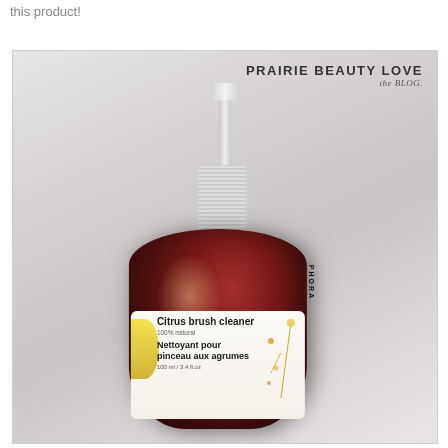this product!
[Figure (photo): Photo of a Sephora Citrus brush cleaner / Nettoyant pour pinceau aux agrumes product in a dark amber spray bottle with white pump top, with Prairie Beauty Love the Blog watermark in the upper right corner of the image.]